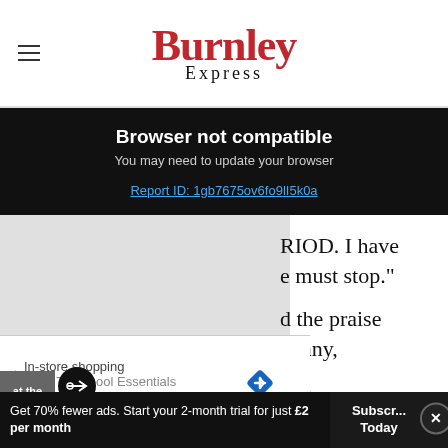Burnley Express
Browser not compatible
You may need to update your browser
Report ID: 1gb7675ov6fo9lI5k0a
RIOD. I have e must stop."
d the praise npany,
In-store shopping
Back To School Essentials
at the
pen
Get 70% fewer ads. Start your 2-month trial for just £2 per month
Subscribe Today